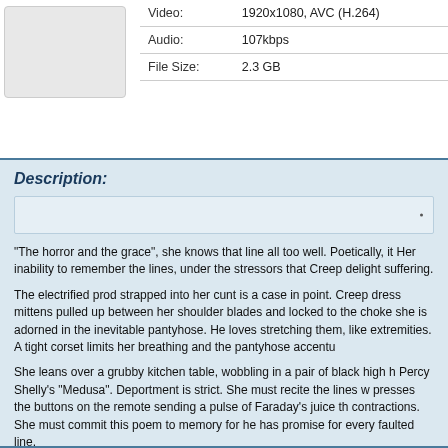| Video: | 1920x1080, AVC (H.264) |
| --- | --- |
| Audio: | 107kbps |
| File Size: | 2.3 GB |
Description:
"The horror and the grace", she knows that line all too well. Poetically, it Her inability to remember the lines, under the stressors that Creep delight suffering.
The electrified prod strapped into her cunt is a case in point. Creep dress mittens pulled up between her shoulder blades and locked to the choke she is adorned in the inevitable pantyhose. He loves stretching them, like extremities. A tight corset limits her breathing and the pantyhose accentu
She leans over a grubby kitchen table, wobbling in a pair of black high h Percy Shelly’s “Medusa”. Deportment is strict. She must recite the lines w presses the buttons on the remote sending a pulse of Faraday’s juice th contractions. She must commit this poem to memory for he has promise for every faulted line.
Creep is living in a romantic horror. He is beguiled by the grace that is